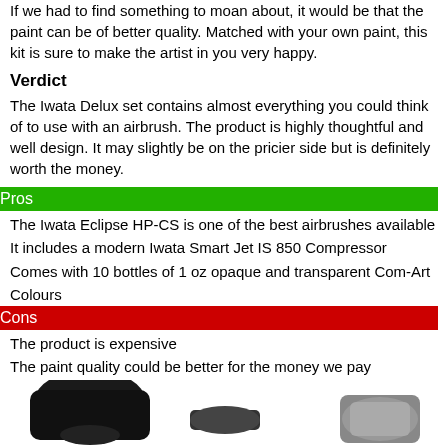If we had to find something to moan about, it would be that the paint can be of better quality. Matched with your own paint, this kit is sure to make the artist in you very happy.
Verdict
The Iwata Delux set contains almost everything you could think of to use with an airbrush. The product is highly thoughtful and well design. It may slightly be on the pricier side but is definitely worth the money.
Pros
The Iwata Eclipse HP-CS is one of the best airbrushes available
It includes a modern Iwata Smart Jet IS 850 Compressor
Comes with 10 bottles of 1 oz opaque and transparent Com-Art Colours
Cons
The product is expensive
The paint quality could be better for the money we pay
2. Badger Patriot 105\Badger TC910 Aspire PRO Airbrush Kit
[Figure (photo): Bottom portion of product image showing airbrush kit components]